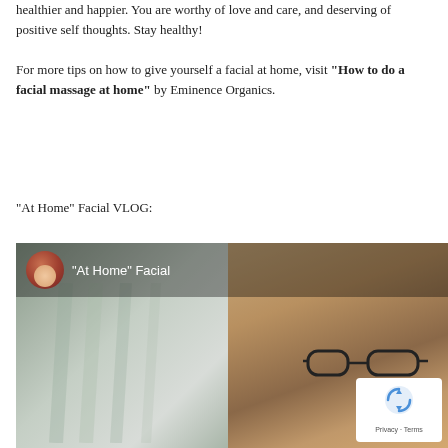healthier and happier. You are worthy of love and care, and deserving of positive self thoughts. Stay healthy!
For more tips on how to give yourself a facial at home, visit "How to do a facial massage at home" by Eminence Organics.
"At Home" Facial VLOG:
[Figure (screenshot): Video thumbnail showing a person wearing glasses and a straw hat, with a video overlay showing a circular avatar of a woman and the title 'At Home Facial'. A reCAPTCHA Privacy/Terms badge is visible in the bottom right corner.]